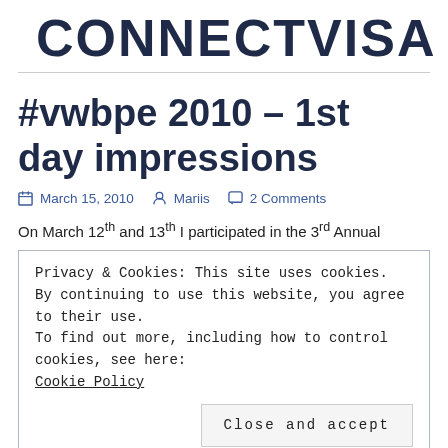CONNECTIVISA
#vwbpe 2010 – 1st day impressions
March 15, 2010  Mariis  2 Comments
On March 12th and 13th I participated in the 3rd Annual
Privacy & Cookies: This site uses cookies. By continuing to use this website, you agree to their use.
To find out more, including how to control cookies, see here:
Cookie Policy
Close and accept
“to bring together educators,